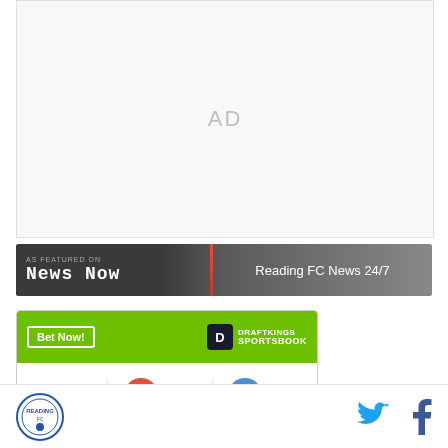[Figure (other): Advertisement placeholder area with 'AD' text in light gray]
[Figure (other): News Now banner - 'AS FEATURED ON / News Now' on dark gradient background with 'Reading FC News 24/7' on right side]
[Figure (other): DraftKings Sportsbook bet widget showing Sun, 11:00a match between STK and REA with Bet Now button]
[Figure (other): Bottom navigation bar with site logo on left and Twitter/Facebook social icons on right]